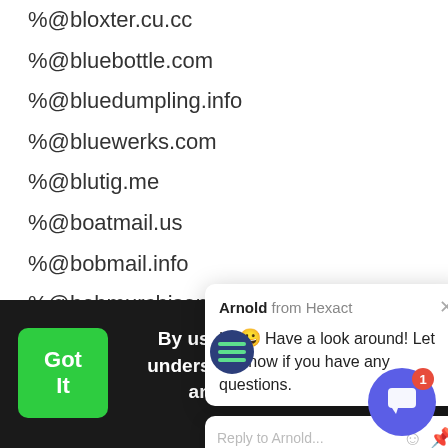%@bloxter.cu.cc
%@bluebottle.com
%@bluedumpling.info
%@bluewerks.com
%@blutig.me
%@boatmail.us
%@bobmail.info
%@bobmurchison.com
%@bodhi.lawlita.com
%@bofthew.com
%@bonbon.net
%@bongobongo...
[Figure (screenshot): Chat popup from Arnold at Hexact saying 'Hi 😀 Have a look around! Let us know if you have any questions.' with a reply input box.]
By using you have read and understand our Privacy Policy and Terms of Service
More